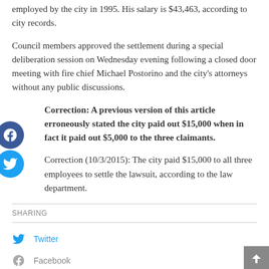employed by the city in 1995. His salary is $43,463, according to city records.
Council members approved the settlement during a special deliberation session on Wednesday evening following a closed door meeting with fire chief Michael Postorino and the city's attorneys without any public discussions.
Correction: A previous version of this article erroneously stated the city paid out $15,000 when in fact it paid out $5,000 to the three claimants.
Correction (10/3/2015): The city paid $15,000 to all three employees to settle the lawsuit, according to the law department.
SHARING
Twitter
Facebook